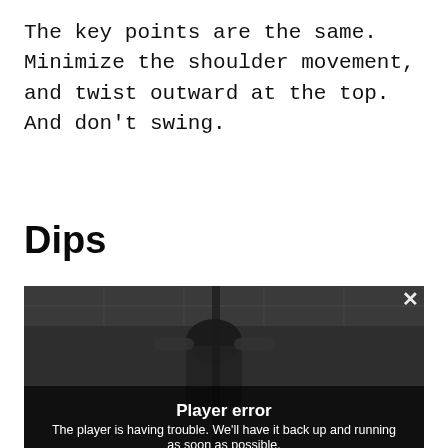The key points are the same. Minimize the shoulder movement, and twist outward at the top. And don't swing.
Dips
[Figure (screenshot): Video player showing a person doing dips in a gym, displaying a 'Player error' overlay with message 'The player is having trouble. We'll have it back up and running as soon as possible.' and an X close button in the top right.]